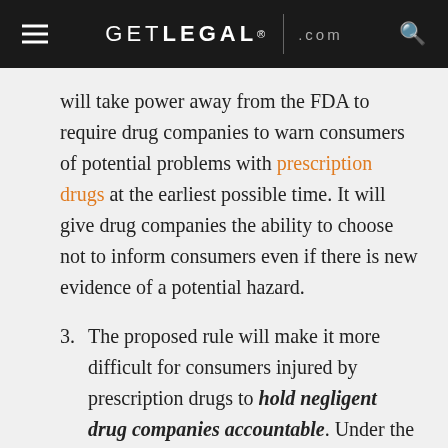GETLEGAL.com
will take power away from the FDA to require drug companies to warn consumers of potential problems with prescription drugs at the earliest possible time. It will give drug companies the ability to choose not to inform consumers even if there is new evidence of a potential hazard.
3. The proposed rule will make it more difficult for consumers injured by prescription drugs to hold negligent drug companies accountable. Under the FDA's